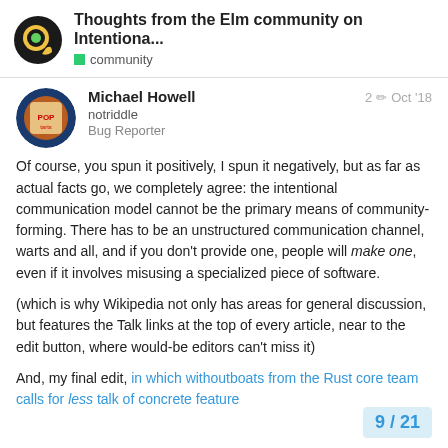Thoughts from the Elm community on Intentiona... | community
Michael Howell
notriddle
Bug Reporter
2 Oct '18
Of course, you spun it positively, I spun it negatively, but as far as actual facts go, we completely agree: the intentional communication model cannot be the primary means of community-forming. There has to be an unstructured communication channel, warts and all, and if you don't provide one, people will make one, even if it involves misusing a specialized piece of software.
(which is why Wikipedia not only has areas for general discussion, but features the Talk links at the top of every article, near to the edit button, where would-be editors can't miss it)
And, my final edit, in which withoutboats from the Rust core team calls for less talk of concrete feature
9 / 21